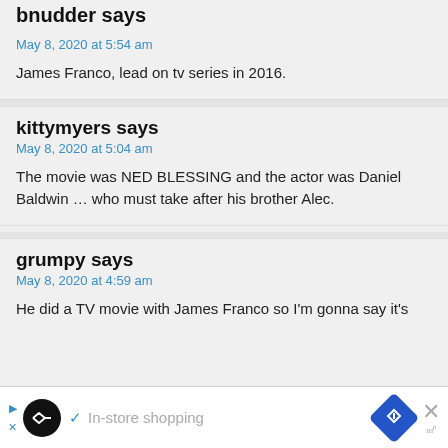bnudder says
May 8, 2020 at 5:54 am
James Franco, lead on tv series in 2016.
kittymyers says
May 8, 2020 at 5:04 am
The movie was NED BLESSING and the actor was Daniel Baldwin ... who must take after his brother Alec.
grumpy says
May 8, 2020 at 4:59 am
He did a TV movie with James Franco so I'm gonna say it's
[Figure (screenshot): Advertisement banner: In-store shopping with navigation icon]